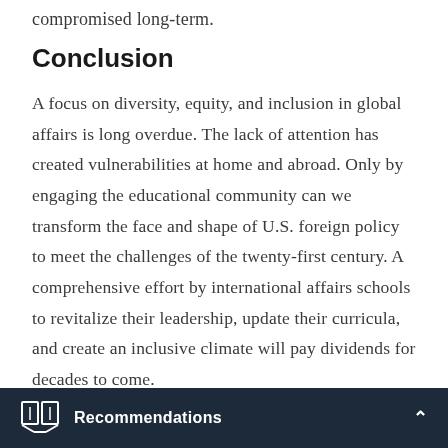compromised long-term.
Conclusion
A focus on diversity, equity, and inclusion in global affairs is long overdue. The lack of attention has created vulnerabilities at home and abroad. Only by engaging the educational community can we transform the face and shape of U.S. foreign policy to meet the challenges of the twenty-first century. A comprehensive effort by international affairs schools to revitalize their leadership, update their curricula, and create an inclusive climate will pay dividends for decades to come.
Recommendations